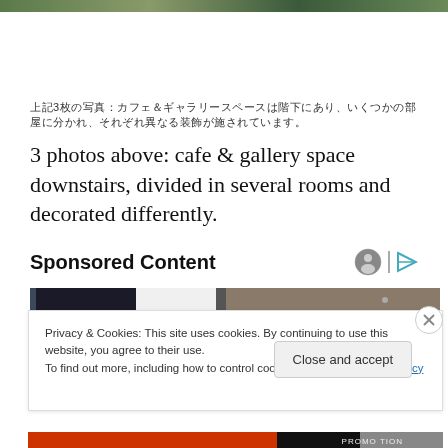[Figure (photo): Top strip showing partial photo of cafe or gallery space]
上記3枚の写真：カフェ＆ギャラリースペースは階下にあり、いくつかの部屋に分かれ、それぞれ異なる装飾が施されています。
3 photos above: cafe & gallery space downstairs, divided in several rooms and decorated differently.
Sponsored Content
[Figure (photo): Partial sponsored content image showing a person outdoors]
Privacy & Cookies: This site uses cookies. By continuing to use this website, you agree to their use.
To find out more, including how to control cookies, see here: Cookie Policy
Close and accept